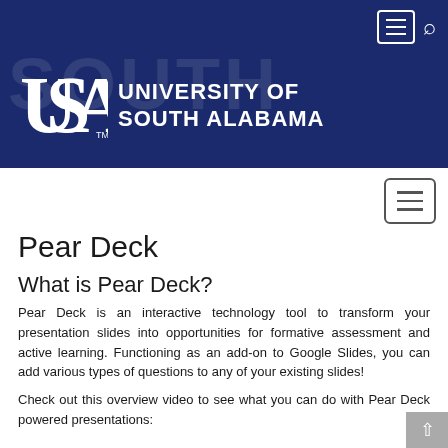[Figure (logo): University of South Alabama header banner with USA logo and university name on dark blue background]
Pear Deck
What is Pear Deck?
Pear Deck is an interactive technology tool to transform your presentation slides into opportunities for formative assessment and active learning. Functioning as an add-on to Google Slides, you can add various types of questions to any of your existing slides!
Check out this overview video to see what you can do with Pear Deck powered presentations: